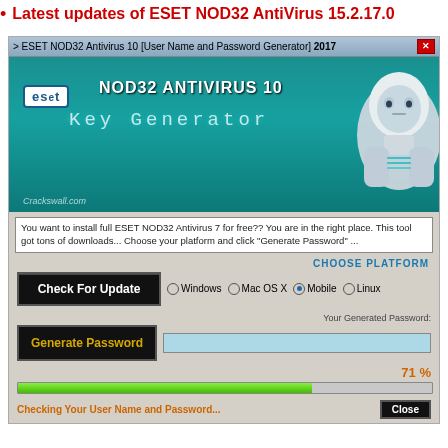Latest updates of ESET NOD32 AntiVirus 15.2.17.0
[Figure (screenshot): Screenshot of ESET NOD32 Antivirus 10 Key Generator application window showing the ESET branding with a robot/android figure, a description text box, platform selection (Windows, Mac OS X, Mobile selected, Linux), Check For Update button, Generate Password button with a blue input field, 71% progress indicator, a green progress bar, and Checking Your User Name and Password... status text with a Close button.]